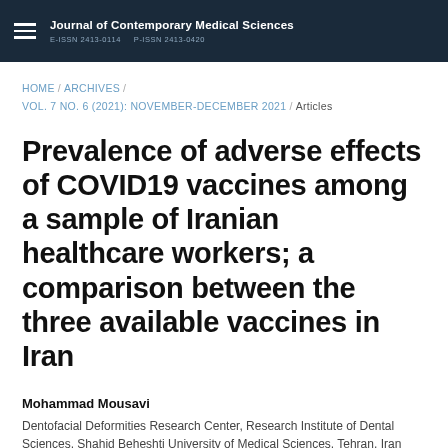Journal of Contemporary Medical Sciences | E-ISSN 2413-0114  P-ISSN 2413-0420
HOME / ARCHIVES / VOL. 7 NO. 6 (2021): NOVEMBER-DECEMBER 2021 / Articles
Prevalence of adverse effects of COVID19 vaccines among a sample of Iranian healthcare workers; a comparison between the three available vaccines in Iran
Mohammad Mousavi
Dentofacial Deformities Research Center, Research Institute of Dental Sciences, Shahid Beheshti University of Medical Sciences, Tehran, Iran